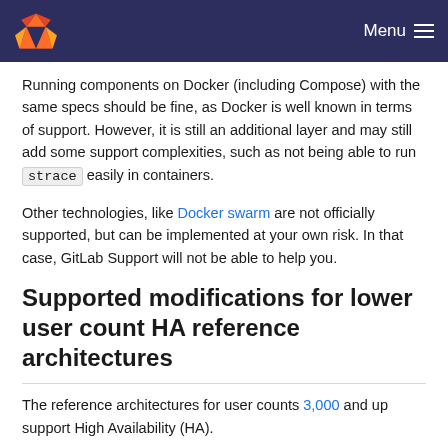Menu
Running components on Docker (including Compose) with the same specs should be fine, as Docker is well known in terms of support. However, it is still an additional layer and may still add some support complexities, such as not being able to run strace easily in containers.
Other technologies, like Docker swarm are not officially supported, but can be implemented at your own risk. In that case, GitLab Support will not be able to help you.
Supported modifications for lower user count HA reference architectures
The reference architectures for user counts 3,000 and up support High Availability (HA).